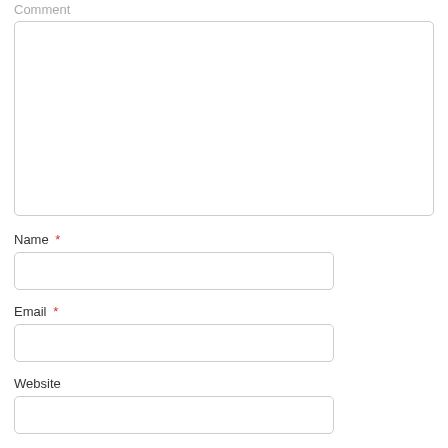Comment
[Figure (other): Large comment textarea input box]
Name *
[Figure (other): Name text input field]
Email *
[Figure (other): Email text input field]
Website
[Figure (other): Website text input field]
[Figure (other): Submit button (partially visible)]